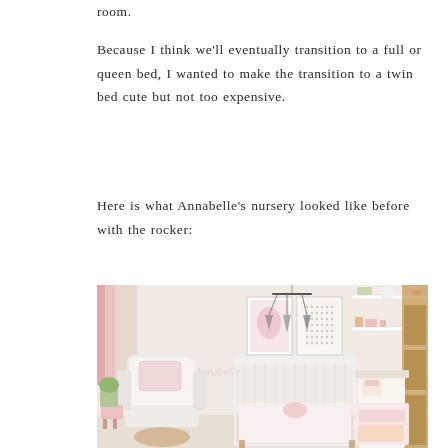room.
Because I think we'll eventually transition to a full or queen bed, I wanted to make the transition to a twin bed cute but not too expensive.
Here is what Annabelle's nursery looked like before with the rocker:
[Figure (photo): A nursery room with a white glider rocker with pink cushions on the left, a white metal crib in the center, framed artwork on the wall above, a hanging mobile, a changing table on the right, and shelves on the upper right with decor items. Pink curtains visible on the left.]